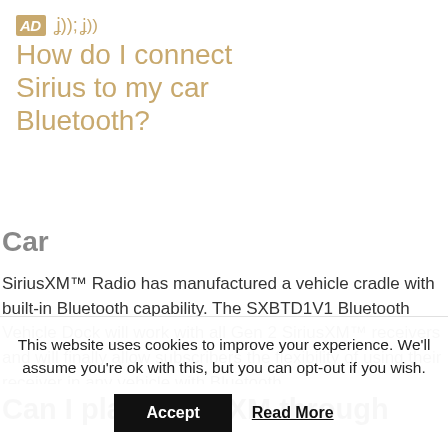How do I connect Sirius to my car Bluetooth?
Car
SiriusXM™ Radio has manufactured a vehicle cradle with built-in Bluetooth capability. The SXBTD1V1 Bluetooth Vehicle Dock will work with all Gen 2 SiriusXM™ receivers and will finally allow subscribers the flexibility of using their receiver in any vehicle with Bluetooth.
Can I play SiriusXM through
This website uses cookies to improve your experience. We'll assume you're ok with this, but you can opt-out if you wish.